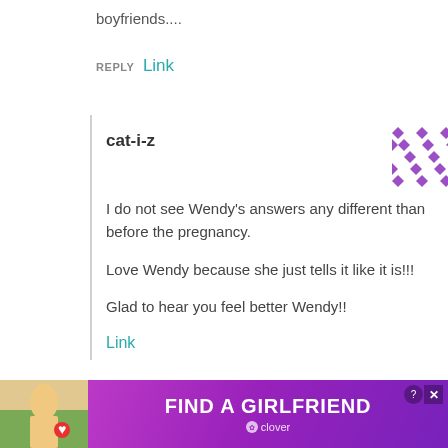boyfriends....
REPLY Link
cat-i-z
I do not see Wendy’s answers any different than before the pregnancy.
Love Wendy because she just tells it like it is!!!
Glad to hear you feel better Wendy!!
Link
[Figure (illustration): Advertisement banner: purple gradient background, woman photo on left, text 'FIND A GIRLFRIEND' in white bold uppercase, Clover branding below, close/X buttons top right]